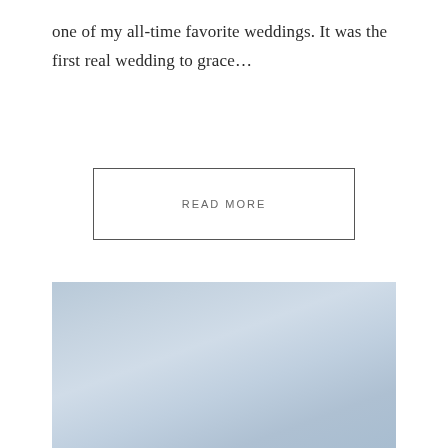one of my all-time favorite weddings. It was the first real wedding to grace…
READ MORE
[Figure (photo): A photo with a light blue gradient sky background, partially visible at the bottom of the page]